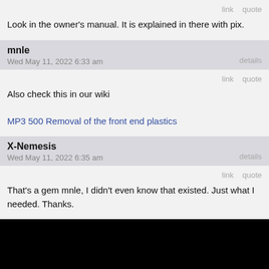link   quote
Look in the owner's manual. It is explained in there with pix.
mnle
Wed May 11, 2022 6:33 am
details
link   quote
Also check this in our wiki
MP3 500 Removal of the front end plastics
X-Nemesis
Wed May 11, 2022 6:35 am
details
link   quote
That's a gem mnle, I didn't even know that existed. Just what I needed. Thanks.